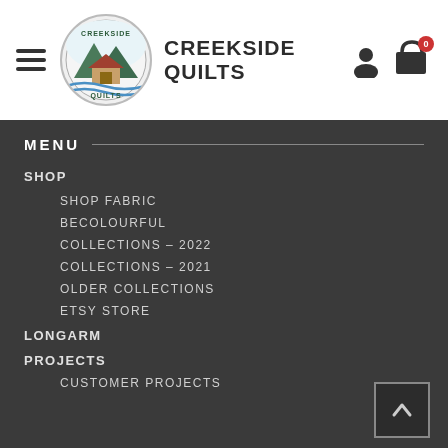CREEKSIDE QUILTS
MENU
SHOP
SHOP FABRIC
BECOLOURFUL
COLLECTIONS – 2022
COLLECTIONS – 2021
OLDER COLLECTIONS
ETSY STORE
LONGARM
PROJECTS
CUSTOMER PROJECTS